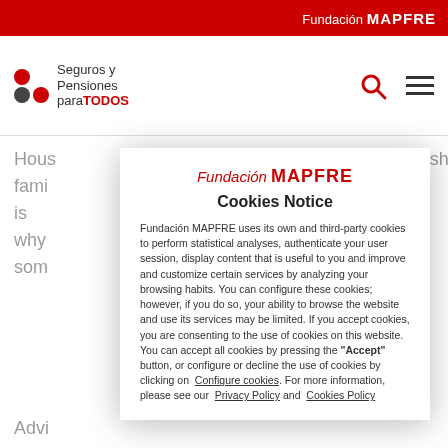Fundación MAPFRE
[Figure (logo): Seguros y Pensiones paraTODOS logo with colored circles]
Hous... ish fami... is why... some...
[Figure (screenshot): Cookie notice modal overlay from Fundación MAPFRE website]
Advi...